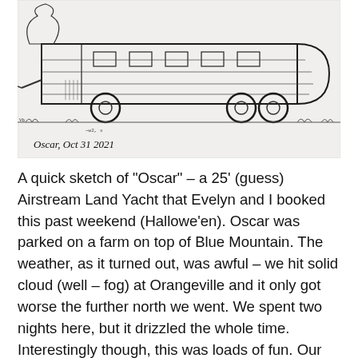[Figure (illustration): Hand-drawn pencil sketch of an Airstream Land Yacht trailer (Oscar) parked outdoors, with trees and ground details. Signed 'Oscar, Oct 31 2021' in cursive at the bottom left.]
A quick sketch of "Oscar" – a 25' (guess) Airstream Land Yacht that Evelyn and I booked this past weekend (Hallowe'en). Oscar was parked on a farm on top of Blue Mountain. The weather, as it turned out, was awful – we hit solid cloud (well – fog) at Orangeville and it only got worse the further north we went. We spent two nights here, but it drizzled the whole time. Interestingly though, this was loads of fun. Our 11 year old Labrador ran around the property like a puppy, and I felt like